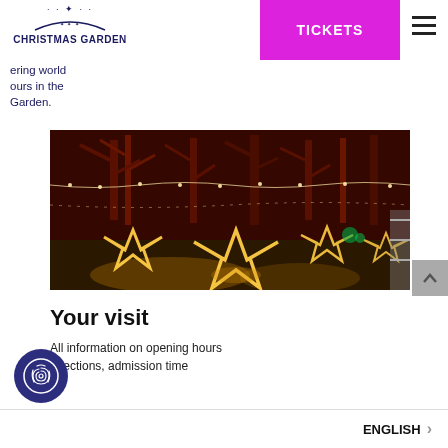[Figure (logo): Christmas Garden logo with star arc and brand name]
[Figure (other): Pink TICKETS button navigation element]
ering world ours in the Garden.
[Figure (photo): Night photo of outdoor Christmas light star decorations in a garden park with trees lit in red and string lights]
Your visit
All information on opening hours directions, admission time
ENGLISH >